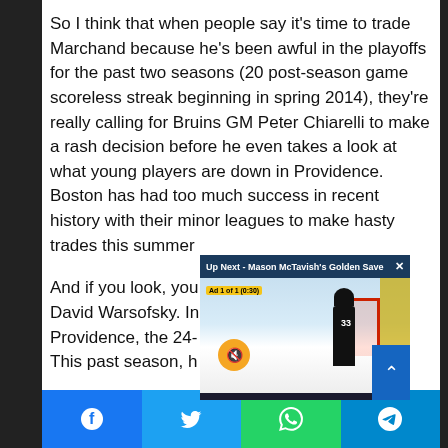So I think that when people say it's time to trade Marchand because he's been awful in the playoffs for the past two seasons (20 post-season game scoreless streak beginning in spring 2014), they're really calling for Bruins GM Peter Chiarelli to make a rash decision before he even takes a look at what young players are down in Providence. Boston has had too much success in recent history with their minor leagues to make hasty trades this summer
And if you look, you David Warsofsky. In Providence, the 24- This past season, h
[Figure (screenshot): Video overlay: 'Up Next - Mason McTavish's Golden Save' with a hockey player in black jersey (#33) near a red goal net on an ice rink. Ad 1 of 1 (0:30) label shown. Mute button visible.]